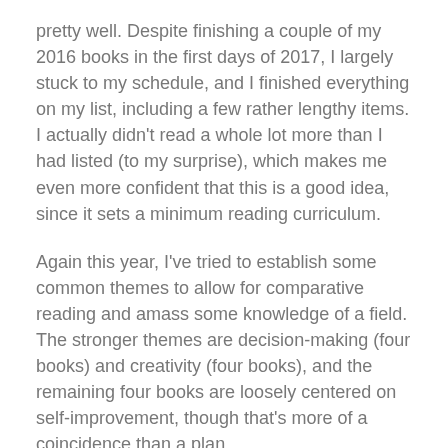pretty well. Despite finishing a couple of my 2016 books in the first days of 2017, I largely stuck to my schedule, and I finished everything on my list, including a few rather lengthy items. I actually didn't read a whole lot more than I had listed (to my surprise), which makes me even more confident that this is a good idea, since it sets a minimum reading curriculum.
Again this year, I've tried to establish some common themes to allow for comparative reading and amass some knowledge of a field. The stronger themes are decision-making (four books) and creativity (four books), and the remaining four books are loosely centered on self-improvement, though that's more of a coincidence than a plan.
Read More...